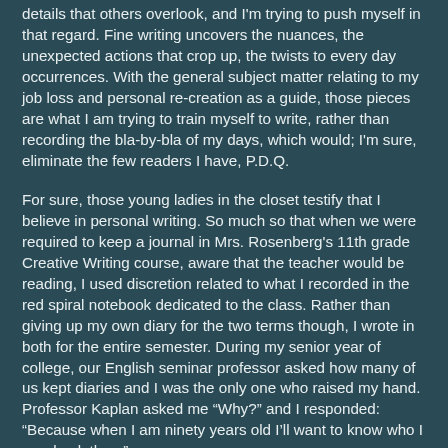details that others overlook, and I'm trying to push myself in that regard. Fine writing uncovers the nuances, the unexpected actions that crop up, the twists to every day occurrences. With the general subject matter relating to my job loss and personal re-creation as a guide, those pieces are what I am trying to train myself to write, rather than recording the bla-by-bla of my days, which would; I'm sure, eliminate the few readers I have, P.D.Q.
For sure, those young ladies in the closet testify that I believe in personal writing. So much so that when we were required to keep a journal in Mrs. Rosenberg's 11th grade Creative Writing course, aware that the teacher would be reading, I used discretion related to what I recorded in the red spiral notebook dedicated to the class. Rather than giving up my own diary for the two terms though, I wrote in both for the entire semester. During my senior year of college, our English seminar professor asked how many of us kept diaries and I was the only one who raised my hand. Professor Kaplan asked me “Why?” and I responded: “Because when I am ninety years old I’ll want to know who I was back then.”